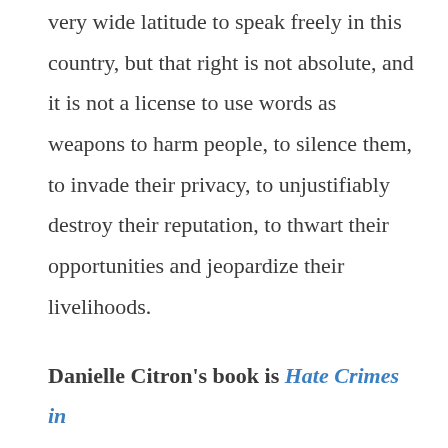very wide latitude to speak freely in this country, but that right is not absolute, and it is not a license to use words as weapons to harm people, to silence them, to invade their privacy, to unjustifiably destroy their reputation, to thwart their opportunities and jeopardize their livelihoods.
Danielle Citron's book is Hate Crimes in Cyberspace, published by Harvard